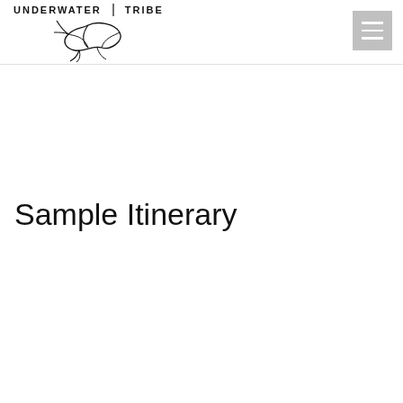Underwater Tribe
Sample Itinerary